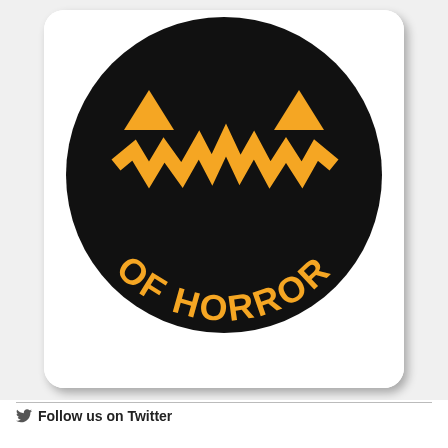[Figure (logo): Circular black logo with an orange jack-o-lantern face (jagged teeth smile) at the top and orange text reading 'OF HORROR' curved along the bottom of the circle, on a white rounded-rectangle card with drop shadow.]
Follow us on Twitter
My Tweets
Disclaimer
While we stand behind our contributors 100%, their views do not necessarily reflect those of us at Ink Heist and, except editing for clarity and grammar, are printed verbatim as they were provided to us. We are committed to journalistic integrity and objectivity and to that end, allow our contributors to express their views unfettered and uncensored. If you take issue with something we publish,